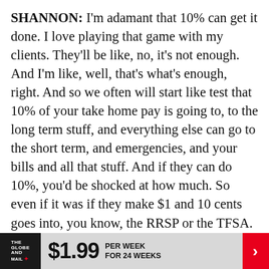SHANNON: I'm adamant that 10% can get it done. I love playing that game with my clients. They'll be like, no, it's not enough. And I'm like, well, that's what's enough, right. And so we often will start like test that 10% of your take home pay is going to, to the long term stuff, and everything else can go to the short term, and emergencies, and your bills and all that stuff. And if they can do 10%, you'd be shocked at how much. So even if it was if they make $1 and 10 cents goes into, you know, the RRSP or the TFSA. I think that that's a huge win. And I even think that that's hard for so many people these days as like we just feel squeezed and the cost of living with inflation feels higher and higher. So if you can do 10%, I think that's a huge win. And bene...
[Figure (other): Advertisement banner: The Globe and Mail logo on dark background, $1.99 PER WEEK FOR 24 WEEKS offer, red arrow button on right]